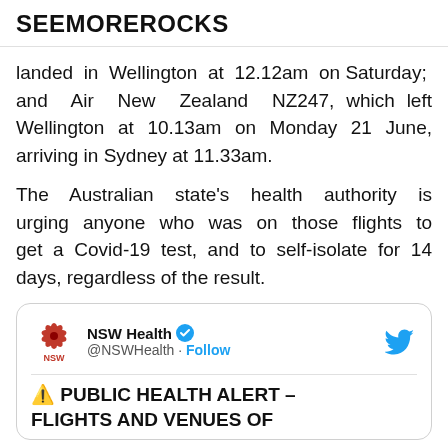SEEMOREROCKS
landed in Wellington at 12.12am on Saturday; and Air New Zealand NZ247, which left Wellington at 10.13am on Monday 21 June, arriving in Sydney at 11.33am.
The Australian state's health authority is urging anyone who was on those flights to get a Covid-19 test, and to self-isolate for 14 days, regardless of the result.
[Figure (screenshot): Embedded NSW Health tweet card showing account name 'NSW Health' with blue verified badge, handle @NSWHealth with Follow link, Twitter bird icon, and tweet text beginning '⚠️ PUBLIC HEALTH ALERT – FLIGHTS AND VENUES OF']